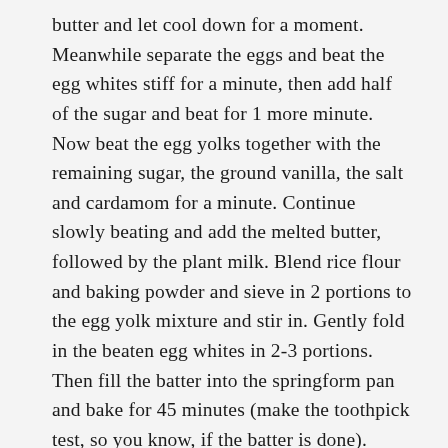butter and let cool down for a moment. Meanwhile separate the eggs and beat the egg whites stiff for a minute, then add half of the sugar and beat for 1 more minute. Now beat the egg yolks together with the remaining sugar, the ground vanilla, the salt and cardamom for a minute. Continue slowly beating and add the melted butter, followed by the plant milk. Blend rice flour and baking powder and sieve in 2 portions to the egg yolk mixture and stir in. Gently fold in the beaten egg whites in 2-3 portions. Then fill the batter into the springform pan and bake for 45 minutes (make the toothpick test, so you know, if the batter is done). Leave the cake cool down 15 minutes, before you remove the springform pan. Let cool down completely on a cooling rack, then start preparing the filling.